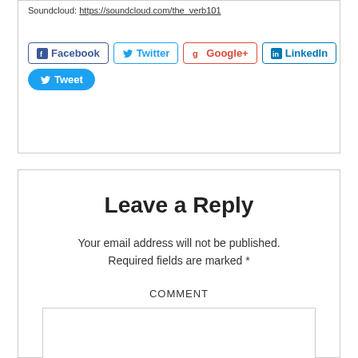Soundcloud: https://soundcloud.com/the_verb101
[Figure (other): Social sharing buttons: Facebook, Twitter, Google+, LinkedIn, Tweet]
Leave a Reply
Your email address will not be published. Required fields are marked *
COMMENT
[Figure (other): Empty comment text area input box]